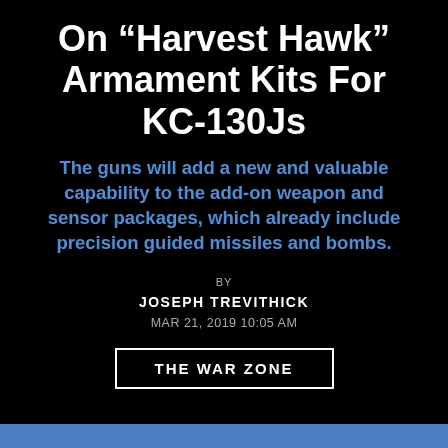On “Harvest Hawk” Armament Kits For KC-130Js
The guns will add a new and valuable capability to the add-on weapon and sensor packages, which already include precision guided missiles and bombs.
BY
JOSEPH TREVITHICK
MAR 21, 2019 10:05 AM
THE WAR ZONE